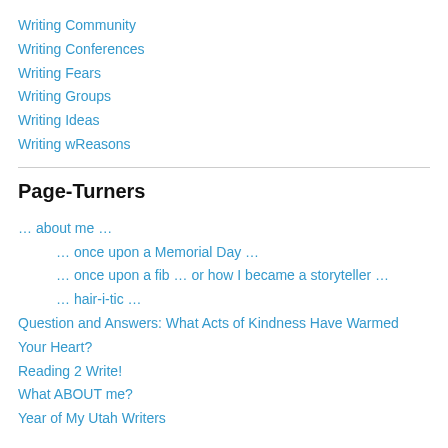Writing Community
Writing Conferences
Writing Fears
Writing Groups
Writing Ideas
Writing wReasons
Page-Turners
… about me …
… once upon a Memorial Day …
… once upon a fib … or how I became a storyteller …
… hair-i-tic …
Question and Answers: What Acts of Kindness Have Warmed Your Heart?
Reading 2 Write!
What ABOUT me?
Year of My Utah Writers